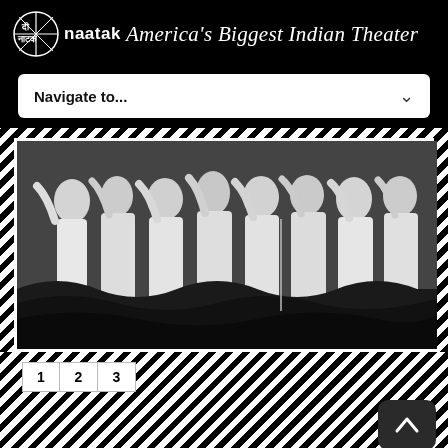[Figure (logo): Naatak logo with Hindi script, circular emblem, and the text 'naatak America's Biggest Indian Theater' on black background]
[Figure (screenshot): Navigation dropdown element with 'Navigate to...' text and a chevron arrow on white background]
[Figure (photo): Black and white photo of Indian theater performers in white costumes/saris on stage with dark wave-like set pieces, framed in white against a diagonal stripe pattern]
[Figure (other): Pagination buttons showing numbers 1, 2, 3 on diagonal striped background, with a scroll-to-top button (dark rounded rectangle with up arrow) in the lower right]